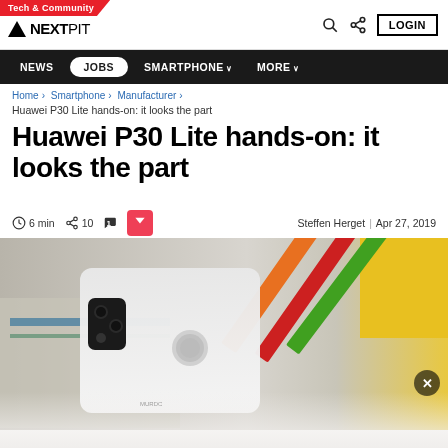Tech & Community | NEXTPIT | LOGIN
NEWS | JOBS | SMARTPHONE | MORE
Home › Smartphone › Manufacturer › Huawei P30 Lite hands-on: it looks the part
Huawei P30 Lite hands-on: it looks the part
6 min · 10 · 1 · Steffen Herget | Apr 27, 2019
[Figure (photo): Back of a white Huawei P30 Lite smartphone placed on papers and books with colored pencils (orange, red, green) visible in the background on a yellow surface.]